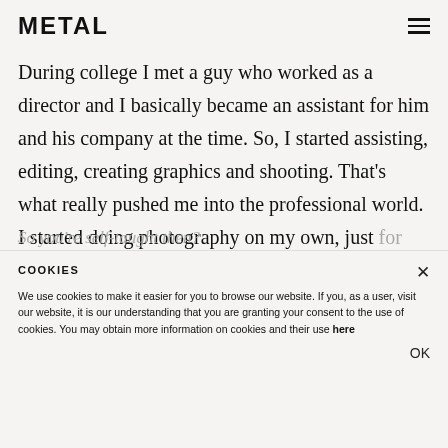METAL
During college I met a guy who worked as a director and I basically became an assistant for him and his company at the time. So, I started assisting, editing, creating graphics and shooting. That’s what really pushed me into the professional world. I started doing photography on my own, just for fun, as a hobby. It taught me more about filming in terms of technical stuff like different lenses and other things like that.
COOKIES
We use cookies to make it easier for you to browse our website. If you, as a user, visit our website, it is our understanding that you are granting your consent to the use of cookies. You may obtain more information on cookies and their use here
OK
So you’re self-taught then?